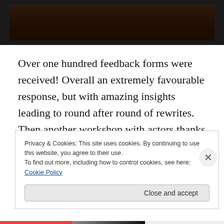[Figure (photo): Dark background image, partially visible at top of page, showing a dark reddish-brown scene]
Over one hundred feedback forms were received! Overall an extremely favourable response, but with amazing insights leading to round after round of rewrites. Then another workshop with actors thanks to the Manitoba Association of Playwrights and the guidance of Sharon
Privacy & Cookies: This site uses cookies. By continuing to use this website, you agree to their use.
To find out more, including how to control cookies, see here: Cookie Policy
Close and accept